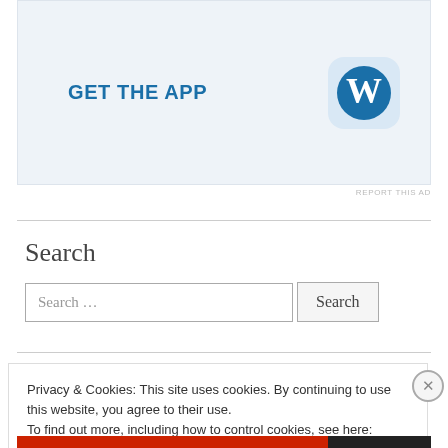[Figure (screenshot): WordPress app advertisement banner with 'GET THE APP' text and WordPress logo icon on light blue background]
REPORT THIS AD
Search
Search …
Privacy & Cookies: This site uses cookies. By continuing to use this website, you agree to their use.
To find out more, including how to control cookies, see here: Cookie Policy
Close and accept